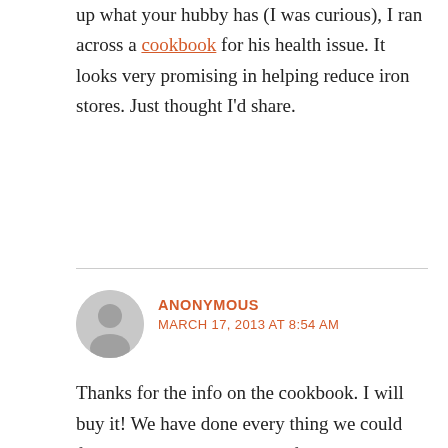up what your hubby has (I was curious), I ran across a cookbook for his health issue. It looks very promising in helping reduce iron stores. Just thought I'd share.
[Figure (illustration): Gray circular avatar icon for anonymous user]
ANONYMOUS
MARCH 17, 2013 AT 8:54 AM
Thanks for the info on the cookbook. I will buy it! We have done every thing we could for his health, lots and lots of pills, liquids, diets, until his dad found out he had hemochromatosis and then the drs found my husbands. We went to Mexico for chelation but that only helped for a while and it did not bring his iron levels down, it just brought his pain down a bit and helped a bit to get his